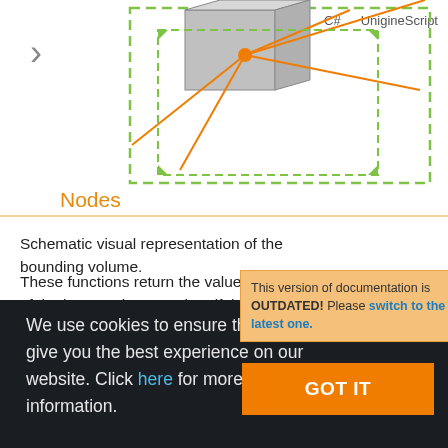[Figure (screenshot): 3D bounding volume diagram with dashed green box outline and orange ray lines from a cube object. Tabs for C++, C#, UnigineScript visible at top right.]
Nodes
This version of documentation is OUTDATED! Please switch to the latest one.
Schematic visual representation bounding volume.
These functions return the value indicating the result of the intersection search: 1 if the intersection was
We use cookies to ensure that we give you the best experience on our website. Click here for more information.
GOT IT